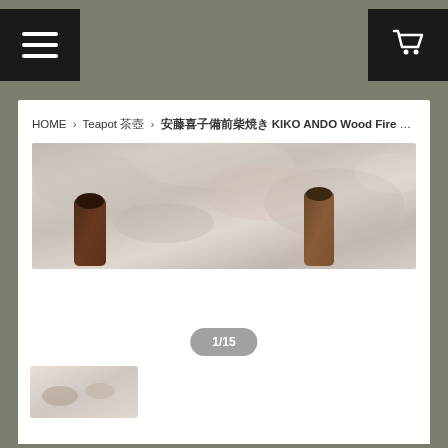Navigation header with menu and cart buttons
HOME > Teapot 茶壺 > 安藤喜子備前柴焼き KIKO ANDO Wood Fire Bizen Red...
[Figure (photo): Close-up photo of two ceramic teapot spouts against a mottled stone/mineral background, showing Bizen wood-fire pottery with natural textures]
1/15
[Figure (photo): Small thumbnail image of the teapot]